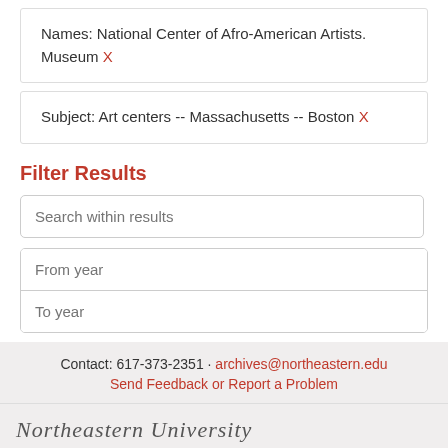Names: National Center of Afro-American Artists. Museum X
Subject: Art centers -- Massachusetts -- Boston X
Filter Results
Search within results
From year
To year
Search
Contact: 617-373-2351 · archives@northeastern.edu Send Feedback or Report a Problem